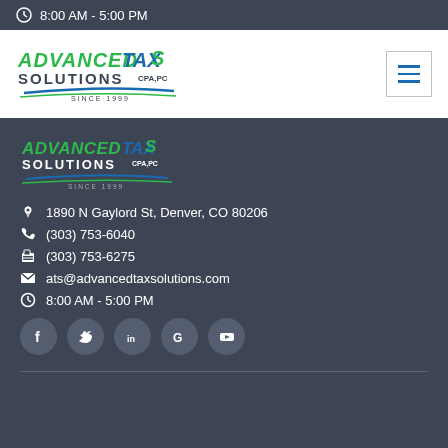8:00 AM - 5:00 PM
[Figure (logo): Advanced Tax Solutions CPA, PC logo - green and blue stylized text with swoosh]
[Figure (logo): Advanced Tax Solutions CPA, PC logo repeated in footer area]
1890 N Gaylord St, Denver, CO 80206
(303) 753-6040
(303) 753-6275
ats@advancedtaxsolutions.com
8:00 AM - 5:00 PM
[Figure (infographic): Social media icons row: Facebook, Twitter, LinkedIn, Google, YouTube]